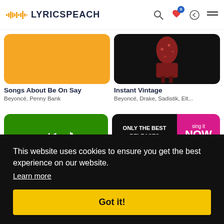LYRICSPEACH
[Figure (screenshot): Album card: Songs About Be On Say - orange background album art]
Songs About Be On Say
Beyoncé, Penny Bank
[Figure (photo): Album card: Instant Vintage - dark background with figure in patterned clothing]
Instant Vintage
Beyoncé, Drake, Sadistik, Elt...
[Figure (screenshot): Album card: green background with stylized text]
Beyoncé, ART
[Figure (screenshot): Album card: Only The Best Releases / Sing It Now compilation]
Beyoncé, Off The Record Ka...
This website uses cookies to ensure you get the best experience on our website.
Learn more
Got it!